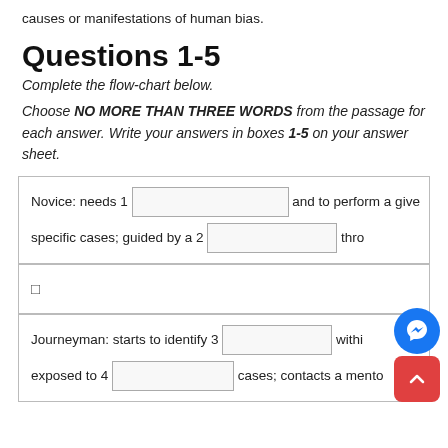causes or manifestations of human bias.
Questions 1-5
Complete the flow-chart below.
Choose NO MORE THAN THREE WORDS from the passage for each answer. Write your answers in boxes 1-5 on your answer sheet.
[Figure (flowchart): Flow chart with fill-in answer boxes. Row 1: 'Novice: needs 1 [box] and to perform a give'. Row 2: 'specific cases; guided by a 2 [box] thro'. Arrow box with checkbox symbol. Row: 'Journeyman: starts to identify 3 [box] withi'. Row: 'exposed to 4 [box] cases; contacts a mento']